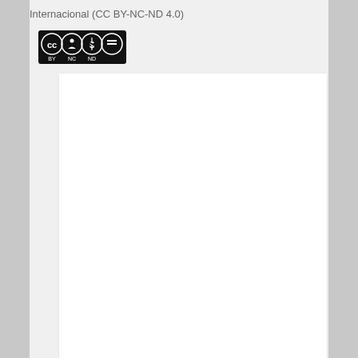Internacional (CC BY-NC-ND 4.0)
[Figure (logo): Creative Commons BY-NC-ND license badge showing CC, BY, NC, ND icons in a black rectangle]